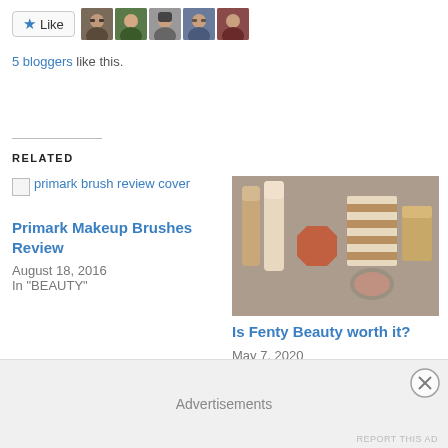[Figure (other): Like button with star icon and 5 blogger avatar photos]
5 bloggers like this.
RELATED
[Figure (photo): Broken image placeholder for primark brush review cover]
Primark Makeup Brushes Review
August 18, 2016
In "BEAUTY"
[Figure (photo): Photo of Fenty Beauty makeup products including foundation tubes, blush compact, and striped boxes on fur background]
Is Fenty Beauty worth it?
May 7, 2020
In "BEAUTY"
[Figure (photo): Partially visible photo of makeup products at bottom left]
Advertisements